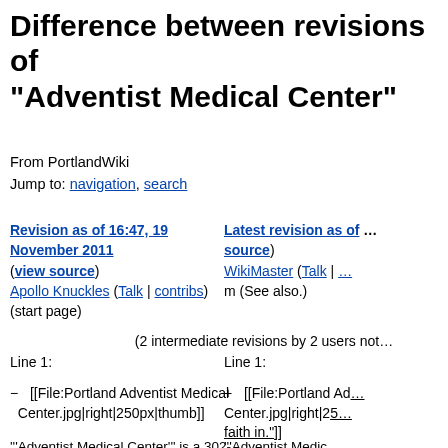Difference between revisions of "Adventist Medical Center"
From PortlandWiki
Jump to: navigation, search
Revision as of 16:47, 19 November 2011 (view source)
Apollo Knuckles (Talk | contribs)
(start page)
Latest revision as of ... (view source)
WikiMaster (Talk | ...
m (See also.)
(2 intermediate revisions by 2 users not shown)
Line 1:
Line 1:
− [[File:Portland Adventist Medical Center.jpg|right|250px|thumb]]
+ [[File:Portland Adventist Medical Center.jpg|right|250px... faith in."]]
""'Adventist Medical Center""' is a 302-bed hospital at 10123 SE Market Street in Portland, off [[Interstate 205]] and Stark/Washington Streets, directly west of
""'Adventist Medic... 10123 SE Market... 205]] and Stark/W... [[Mount Tabor]]